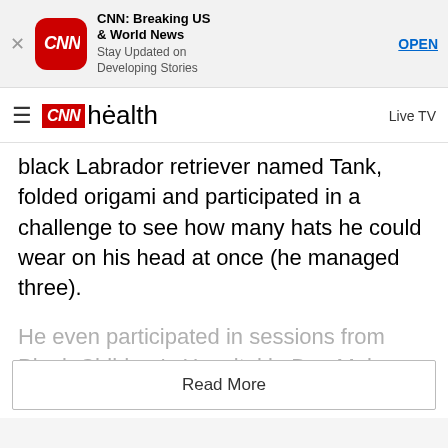[Figure (screenshot): CNN app banner advertisement with CNN logo, title 'CNN: Breaking US & World News', subtitle 'Stay Updated on Developing Stories', and OPEN button]
CNN health   Live TV
black Labrador retriever named Tank, folded origami and participated in a challenge to see how many hats he could wear on his head at once (he managed three).
He even participated in sessions from Blank Children's Hospital in Des Moines, where he receives treatment for his condition on an as-needed basis
Read More